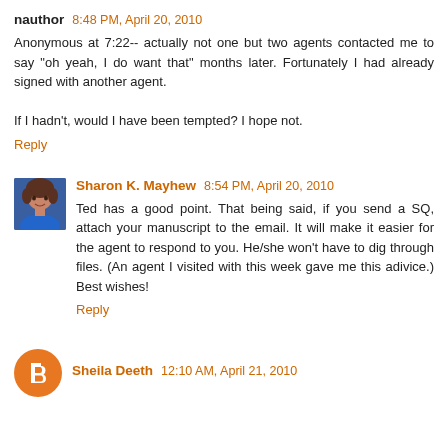nauthor 8:48 PM, April 20, 2010
Anonymous at 7:22-- actually not one but two agents contacted me to say "oh yeah, I do want that" months later. Fortunately I had already signed with another agent.

If I hadn't, would I have been tempted? I hope not.
Reply
[Figure (photo): Profile photo of Sharon K. Mayhew - woman in blue top]
Sharon K. Mayhew 8:54 PM, April 20, 2010
Ted has a good point. That being said, if you send a SQ, attach your manuscript to the email. It will make it easier for the agent to respond to you. He/she won't have to dig through files. (An agent I visited with this week gave me this adivice.) Best wishes!
Reply
[Figure (logo): Blogger orange circle avatar icon for Sheila Deeth]
Sheila Deeth 12:10 AM, April 21, 2010